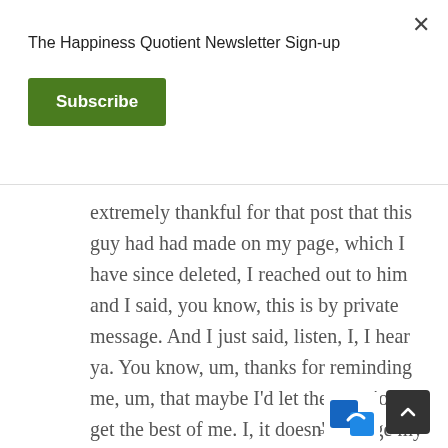The Happiness Quotient Newsletter Sign-up
Subscribe
extremely thankful for that post that this guy had had made on my page, which I have since deleted, I reached out to him and I said, you know, this is by private message. And I just said, listen, I, I hear ya. You know, um, thanks for reminding me, um, that maybe I'd let the emotions get the best of me. I, it doesn't change my